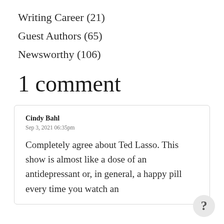Writing Career (21)
Guest Authors (65)
Newsworthy (106)
1 comment
Cindy Bahl
Sep 3, 2021 06:35pm
Completely agree about Ted Lasso. This show is almost like a dose of an antidepressant or, in general, a happy pill every time you watch an